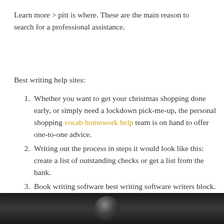Learn more > pitt is where. These are the main reason to search for a professional assistance.
Best writing help sites:
Whether you want to get your christmas shopping done early, or simply need a lockdown pick-me-up, the personal shopping vocab homework help team is on hand to offer one-to-one advice.
Writing out the process in steps it would look like this: create a list of outstanding checks or get a list from the bank.
Book writing software best writing software writers block.
[Figure (photo): Dark photo strip at the bottom of the page showing a partial image of a person]